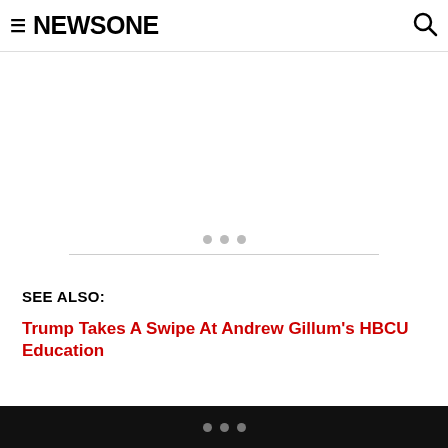NEWSONE
[Figure (other): Advertisement placeholder area with three dots and a horizontal divider line]
SEE ALSO:
Trump Takes A Swipe At Andrew Gillum's HBCU Education
Candace Owens And Kanye West Circle 'Black' Trump...